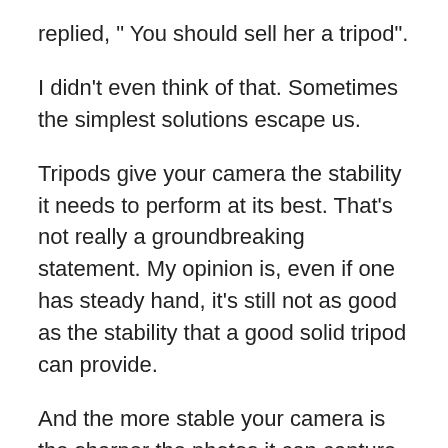replied, “ You should sell her a tripod”.
I didn’t even think of that. Sometimes the simplest solutions escape us.
Tripods give your camera the stability it needs to perform at its best. That’s not really a groundbreaking statement. My opinion is, even if one has steady hand, it’s still not as good as the stability that a good solid tripod can provide.
And the more stable your camera is the sharper the photos it can capture.
Blurriness is one of the primary culprits of a bad scenic photo, so the more one uses a tripod, the better the photos will be.
I wonder how many times I have said, “If you don’t like